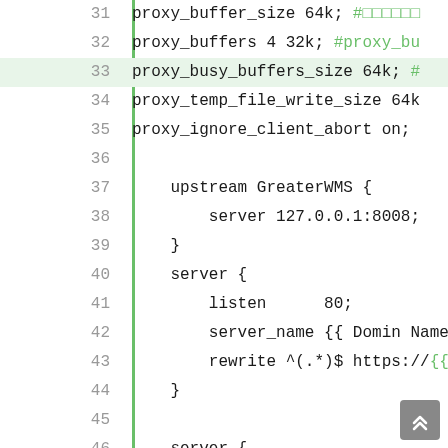[Figure (screenshot): Code editor screenshot showing nginx configuration lines 31-49, with a green vertical bar on the left side. Lines show proxy settings, upstream GreaterWMS block, and two server blocks. Line 33 is highlighted. Comments in green, code in dark text.]